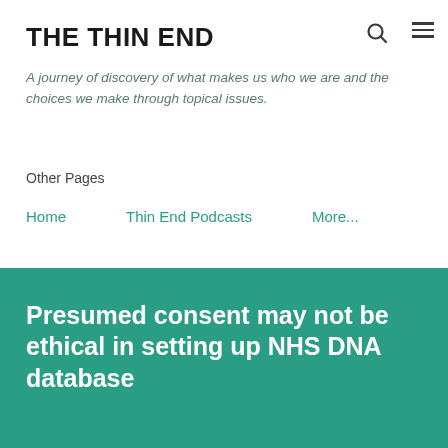THE THIN END
A journey of discovery of what makes us who we are and the choices we make through topical issues.
Other Pages
Home
Thin End Podcasts
More...
Presumed consent may not be ethical in setting up NHS DNA database